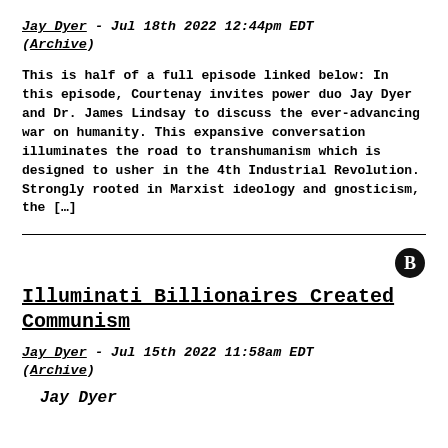Jay Dyer - Jul 18th 2022 12:44pm EDT (Archive)
This is half of a full episode linked below: In this episode, Courtenay invites power duo Jay Dyer and Dr. James Lindsay to discuss the ever-advancing war on humanity. This expansive conversation illuminates the road to transhumanism which is designed to usher in the 4th Industrial Revolution. Strongly rooted in Marxist ideology and gnosticism, the […]
Illuminati Billionaires Created Communism
Jay Dyer - Jul 15th 2022 11:58am EDT (Archive)
Jay Dyer